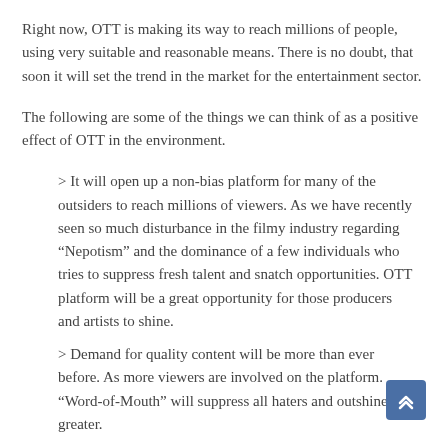Right now, OTT is making its way to reach millions of people, using very suitable and reasonable means. There is no doubt, that soon it will set the trend in the market for the entertainment sector.
The following are some of the things we can think of as a positive effect of OTT in the environment.
> It will open up a non-bias platform for many of the outsiders to reach millions of viewers. As we have recently seen so much disturbance in the filmy industry regarding “Nepotism” and the dominance of a few individuals who tries to suppress fresh talent and snatch opportunities. OTT platform will be a great opportunity for those producers and artists to shine.
> Demand for quality content will be more than ever before. As more viewers are involved on the platform. “Word-of-Mouth” will suppress all haters and outshine the greater.
> Those who do not have excess to the theatre will be able